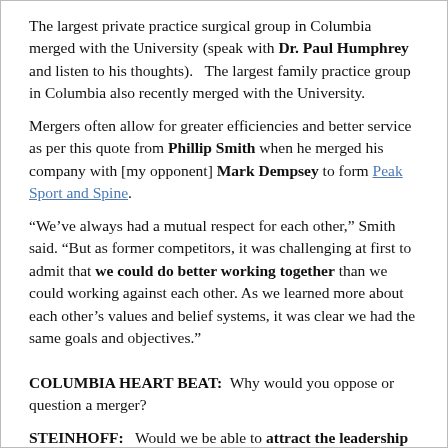The largest private practice surgical group in Columbia merged with the University (speak with Dr. Paul Humphrey and listen to his thoughts).   The largest family practice group in Columbia also recently merged with the University.
Mergers often allow for greater efficiencies and better service as per this quote from Phillip Smith when he merged his company with [my opponent] Mark Dempsey to form Peak Sport and Spine.
“We’ve always had a mutual respect for each other,” Smith said. “But as former competitors, it was challenging at first to admit that we could do better working together than we could working against each other. As we learned more about each other’s values and belief systems, it was clear we had the same goals and objectives.”
COLUMBIA HEART BEAT:  Why would you oppose or question a merger?
STEINHOFF:   Would we be able to attract the leadership necessary to build this kind of system?